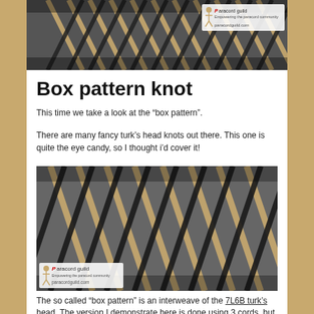[Figure (photo): Close-up photo of a box pattern turk's head knot in tan/black paracord on a gray cylindrical object, with Paracord Guild logo and paracordguild.com watermark]
Box pattern knot
This time we take a look at the “box pattern”.
There are many fancy turk’s head knots out there. This one is quite the eye candy, so I thought i’d cover it!
[Figure (photo): Photo of a completed box pattern knot made with tan and black paracord on a gray cylindrical object, with Paracord Guild logo and paracordguild.com watermark]
The so called “box pattern” is an interweave of the 7L6B turk’s head. The version I demonstrate here is done using 3 cords, but you can add